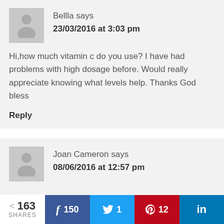Bellla says 23/03/2016 at 3:03 pm
Hi,how much vitamin c do you use? I have had problems with high dosage before. Would really appreciate knowing what levels help. Thanks God bless
Reply
Joan Cameron says 08/06/2016 at 12:57 pm
163 SHARES  f 150  1  12  in